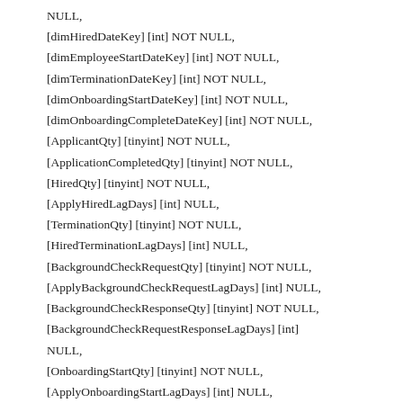NULL,
[dimHiredDateKey] [int] NOT NULL,
[dimEmployeeStartDateKey] [int] NOT NULL,
[dimTerminationDateKey] [int] NOT NULL,
[dimOnboardingStartDateKey] [int] NOT NULL,
[dimOnboardingCompleteDateKey] [int] NOT NULL,
[ApplicantQty] [tinyint] NOT NULL,
[ApplicationCompletedQty] [tinyint] NOT NULL,
[HiredQty] [tinyint] NOT NULL,
[ApplyHiredLagDays] [int] NULL,
[TerminationQty] [tinyint] NOT NULL,
[HiredTerminationLagDays] [int] NULL,
[BackgroundCheckRequestQty] [tinyint] NOT NULL,
[ApplyBackgroundCheckRequestLagDays] [int] NULL,
[BackgroundCheckResponseQty] [tinyint] NOT NULL,
[BackgroundCheckRequestResponseLagDays] [int] NULL,
[OnboardingStartQty] [tinyint] NOT NULL,
[ApplyOnboardingStartLagDays] [int] NULL,
[OnboardingCompleteQty] [tinyint] NOT NULL,
[ApplyOnboardingCompleteLagDays] [int] NULL,